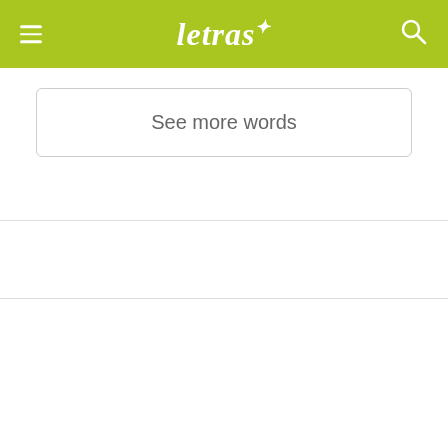letras* [logo with menu and search icons]
See more words